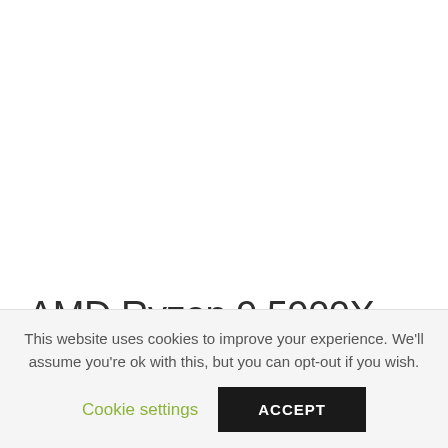AMD Ryzen 9 5900X
If you’ve got the right motherboard, this 12-core, 24-
This website uses cookies to improve your experience. We'll assume you're ok with this, but you can opt-out if you wish.
Cookie settings  ACCEPT